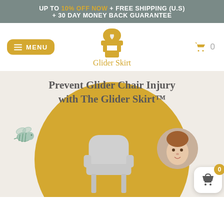UP TO 10% OFF NOW + FREE SHIPPING (U.S) + 30 DAY MONEY BACK GUARANTEE
[Figure (logo): Glider Skirt logo: a glider chair icon in golden yellow color above the text 'Glider Skirt']
MENU
Prevent Glider Chair Injury with The Glider Skirt™
[Figure (illustration): A golden yellow bee illustration on the left side of the hero section]
[Figure (photo): A glider chair in light gray fabric with chrome legs, partially visible at bottom center]
[Figure (photo): A circular cropped photo of a young toddler girl with hair tied up, looking at camera]
[Figure (illustration): A warning/caution triangle sign at the bottom left of the hero area]
[Figure (other): Floating cart button with badge showing 0, white rounded box with basket icon]